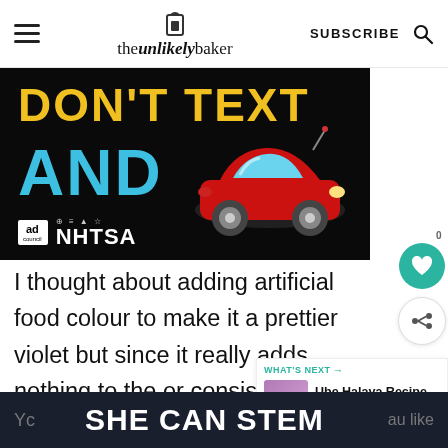theunlikelybaker — SUBSCRIBE
[Figure (photo): Ad image with black background showing 'DON'T TEXT AND' in yellow/cyan bold text with a red cartoon car illustration, and Ad Council / NHTSA logos at bottom]
I thought about adding artificial food colour to make it a prettier violet but since it really adds nothing to the or consistency, I don't bother.
[Figure (infographic): What's Next panel showing Ube Halaya Recipe (with... link)]
SHE CAN STEM